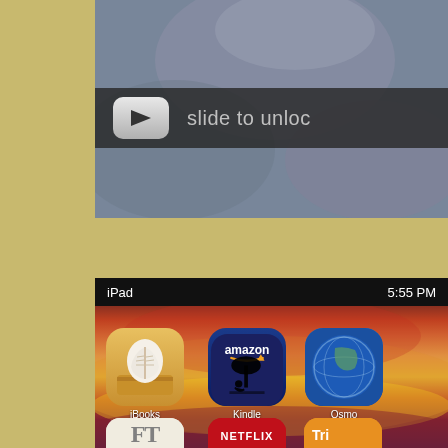[Figure (screenshot): iPad/iPhone lock screen with 'slide to unlock' bar visible, showing an arrow button and 'slide to unloc' text on dark background, set against a beige/yellow page background]
[Figure (screenshot): iPad home screen showing status bar with 'iPad' and '5:55 PM', with app icons: iBooks, Kindle, Osmo (partial), Mobile Edition (FT), Netflix, Trip (partial), and partial bottom row apps, over a red/orange sunset wallpaper]